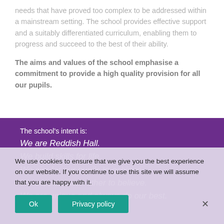needs that have proved too complex to be addressed within a mainstream setting. The school provides effective support and a suitably differentiated curriculum, enabling them to progress and succeed to the best of their ability.
The aims and values of the school emphasise a commitment to provide a high quality provision for all our pupils.
The school's intent is:
We are Reddish Hall.
We build skills for life.
We aim for our pupils to achieve.
We support each other to believe.
We are unique and always do our best.
We use cookies to ensure that we give you the best experience on our website. If you continue to use this site we will assume that you are happy with it.